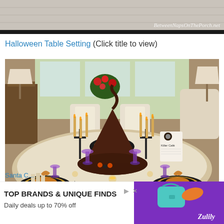[Figure (photo): Top cropped image of a porch/outdoor setting with watermark 'BetweenNapsOnThePorch.net']
Halloween Table Setting (Click title to view)
[Figure (photo): Halloween table setting with witch hat centerpiece, candelabras, black plates with orange napkins, purple goblets, and holiday decorations on a porch dining table]
[Figure (photo): Advertisement banner: TOP BRANDS & UNIQUE FINDS - Daily deals up to 70% off - Zulily]
Santa C...